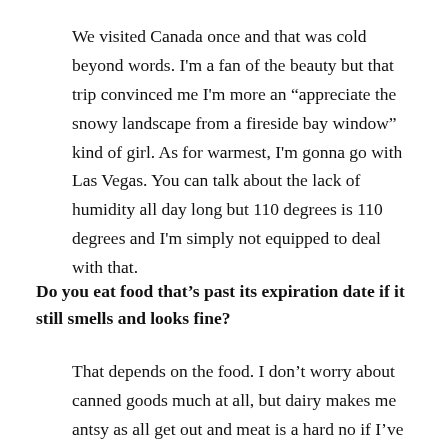We visited Canada once and that was cold beyond words. I'm a fan of the beauty but that trip convinced me I'm more an “appreciate the snowy landscape from a fireside bay window” kind of girl. As for warmest, I'm gonna go with Las Vegas. You can talk about the lack of humidity all day long but 110 degrees is 110 degrees and I'm simply not equipped to deal with that.
Do you eat food that’s past its expiration date if it still smells and looks fine?
That depends on the food. I don’t worry about canned goods much at all, but dairy makes me antsy as all get out and meat is a hard no if I’ve